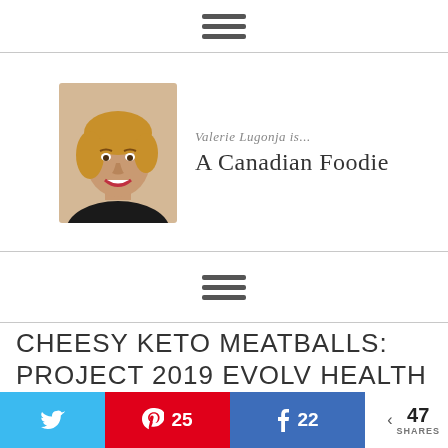hamburger menu icon (top)
[Figure (logo): A Canadian Foodie blog logo featuring a photo of Valerie Lugonja with script text 'Valerie Lugonja is...' and bold text 'A Canadian Foodie']
hamburger menu icon (bottom nav)
CHEESY KETO MEATBALLS: PROJECT 2019 EVOLV HEALTH TOTAL REBOOT RECIPE
25 Pinterest shares, 22 Facebook shares, 47 total shares